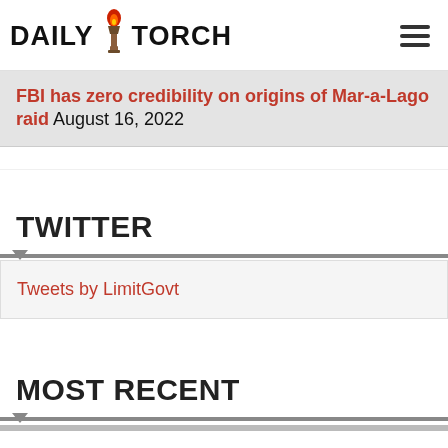DAILY TORCH
FBI has zero credibility on origins of Mar-a-Lago raid August 16, 2022
TWITTER
Tweets by LimitGovt
MOST RECENT